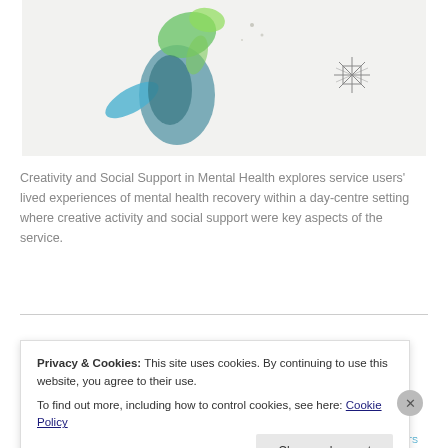[Figure (illustration): Artistic illustration of a figure with blue and green paint/watercolor effects, resembling a fairy or nature spirit. A decorative star/asterisk symbol is shown to the right.]
Creativity and Social Support in Mental Health explores service users' lived experiences of mental health recovery within a day-centre setting where creative activity and social support were key aspects of the service.
Privacy & Cookies: This site uses cookies. By continuing to use this website, you agree to their use.
To find out more, including how to control cookies, see here: Cookie Policy